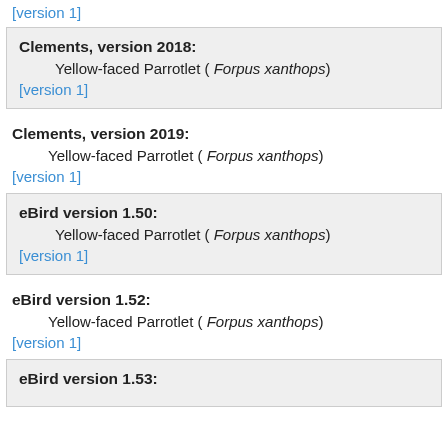[version 1]
Clements, version 2018:
Yellow-faced Parrotlet ( Forpus xanthops)
[version 1]
Clements, version 2019:
Yellow-faced Parrotlet ( Forpus xanthops)
[version 1]
eBird version 1.50:
Yellow-faced Parrotlet ( Forpus xanthops)
[version 1]
eBird version 1.52:
Yellow-faced Parrotlet ( Forpus xanthops)
[version 1]
eBird version 1.53: